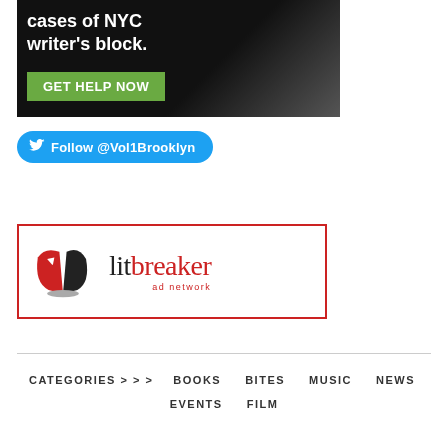[Figure (photo): Black and white advertisement image showing text 'cases of NYC writer's block.' with a green button labeled 'GET HELP NOW']
[Figure (other): Twitter follow button: Follow @Vol1Brooklyn]
[Figure (logo): Litbreaker ad network logo inside a red border rectangle. Shows stylized open book icon in red and black, with text 'litbreaker' and 'ad network' below.]
CATEGORIES > > >   BOOKS   BITES   MUSIC   NEWS   EVENTS   FILM